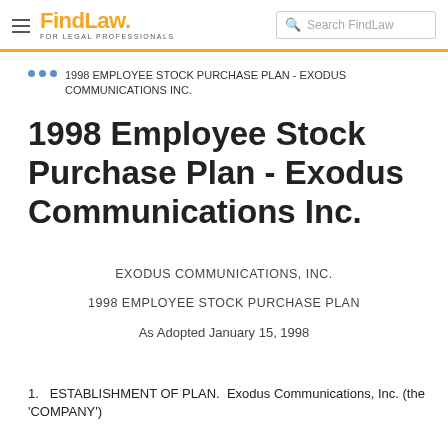FindLaw FOR LEGAL PROFESSIONALS | Search FindLaw
1998 EMPLOYEE STOCK PURCHASE PLAN - EXODUS COMMUNICATIONS INC.
1998 Employee Stock Purchase Plan - Exodus Communications Inc.
EXODUS COMMUNICATIONS, INC.
1998 EMPLOYEE STOCK PURCHASE PLAN
As Adopted January 15, 1998
1.  ESTABLISHMENT OF PLAN.  Exodus Communications, Inc. (the 'COMPANY')